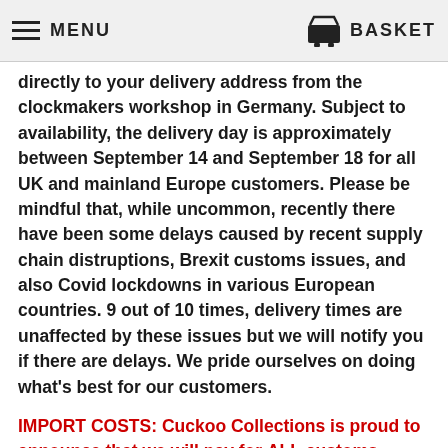MENU | BASKET
directly to your delivery address from the clockmakers workshop in Germany. Subject to availability, the delivery day is approximately between September 14 and September 18 for all UK and mainland Europe customers. Please be mindful that, while uncommon, recently there have been some delays caused by recent supply chain distruptions, Brexit customs issues, and also Covid lockdowns in various European countries. 9 out of 10 times, delivery times are unaffected by these issues but we will notify you if there are delays. We pride ourselves on doing what's best for our customers.
IMPORT COSTS: Cuckoo Collections is proud to announce that we will pay for ALL customs charges or Import VAT costs for our UK customers (due to the new Brexit trade union with the EU). We don't want our UK customers being surprised by any